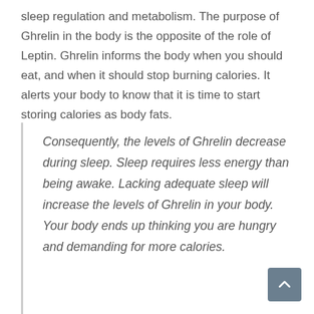sleep regulation and metabolism. The purpose of Ghrelin in the body is the opposite of the role of Leptin. Ghrelin informs the body when you should eat, and when it should stop burning calories. It alerts your body to know that it is time to start storing calories as body fats.
Consequently, the levels of Ghrelin decrease during sleep. Sleep requires less energy than being awake. Lacking adequate sleep will increase the levels of Ghrelin in your body. Your body ends up thinking you are hungry and demanding for more calories.